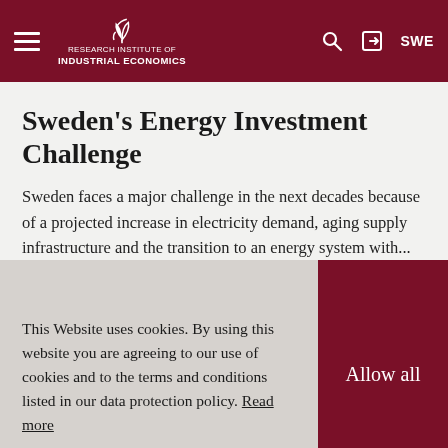Research Institute of Industrial Economics — SWE
Sweden's Energy Investment Challenge
Sweden faces a major challenge in the next decades because of a projected increase in electricity demand, aging supply infrastructure and the transition to an energy system with...
This Website uses cookies. By using this website you are agreeing to our use of cookies and to the terms and conditions listed in our data protection policy. Read more
Strategic Reserves versus Market Wide Capacity Mechanisms